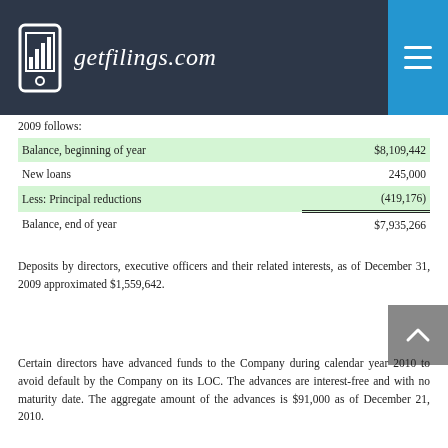getfilings.com
2009 follows:
|  |  |
| --- | --- |
| Balance, beginning of year | $8,109,442 |
| New loans | 245,000 |
| Less: Principal reductions | (419,176) |
| Balance, end of year | $7,935,266 |
Deposits by directors, executive officers and their related interests, as of December 31, 2009 approximated $1,559,642.
Certain directors have advanced funds to the Company during calendar year 2010 to avoid default by the Company on its LOC.  The advances are interest-free and with no maturity date.  The aggregate amount of the advances is $91,000 as of December 21, 2010.